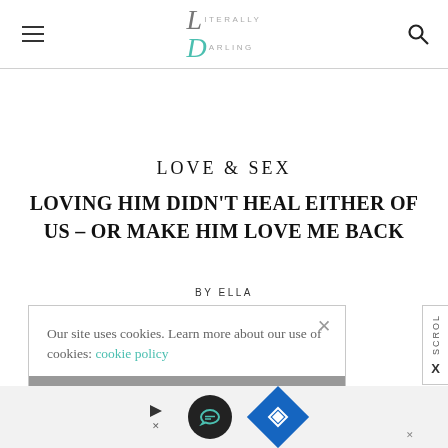Literally Darling
LOVE & SEX
LOVING HIM DIDN'T HEAL EITHER OF US – OR MAKE HIM LOVE ME BACK
BY ELLA
Our site uses cookies. Learn more about our use of cookies: cookie policy
I ACCEPT USE OF COOKIES